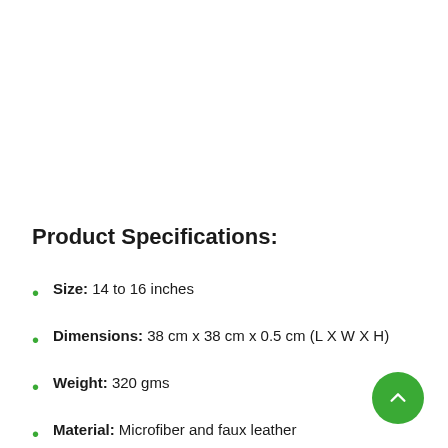Product Specifications:
Size: 14 to 16 inches
Dimensions: 38 cm x 38 cm x 0.5 cm (L X W X H)
Weight: 320 gms
Material: Microfiber and faux leather
Style: One style with six available colours